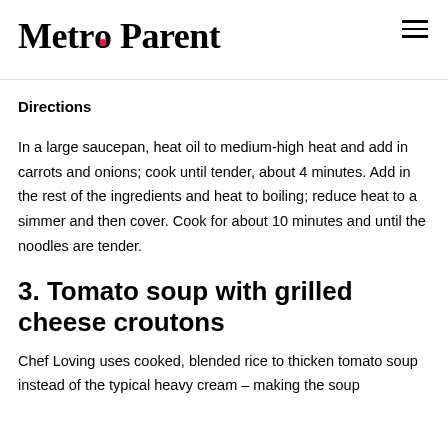Metro Parent
Directions
In a large saucepan, heat oil to medium-high heat and add in carrots and onions; cook until tender, about 4 minutes. Add in the rest of the ingredients and heat to boiling; reduce heat to a simmer and then cover. Cook for about 10 minutes and until the noodles are tender.
3. Tomato soup with grilled cheese croutons
Chef Loving uses cooked, blended rice to thicken tomato soup instead of the typical heavy cream – making the soup